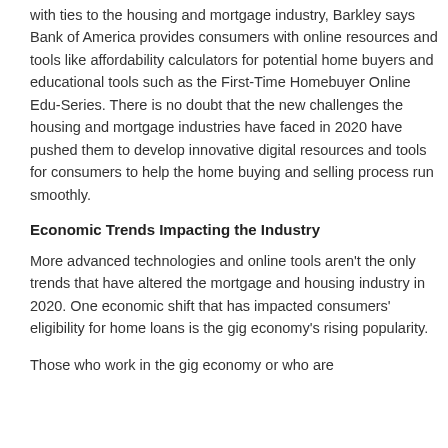with ties to the housing and mortgage industry, Barkley says Bank of America provides consumers with online resources and tools like affordability calculators for potential home buyers and educational tools such as the First-Time Homebuyer Online Edu-Series. There is no doubt that the new challenges the housing and mortgage industries have faced in 2020 have pushed them to develop innovative digital resources and tools for consumers to help the home buying and selling process run smoothly.
Economic Trends Impacting the Industry
More advanced technologies and online tools aren't the only trends that have altered the mortgage and housing industry in 2020. One economic shift that has impacted consumers' eligibility for home loans is the gig economy's rising popularity.
Those who work in the gig economy or who are